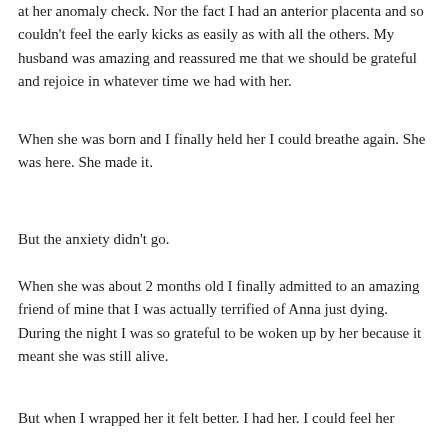at her anomaly check. Nor the fact I had an anterior placenta and so couldn't feel the early kicks as easily as with all the others. My husband was amazing and reassured me that we should be grateful and rejoice in whatever time we had with her.
When she was born and I finally held her I could breathe again. She was here. She made it.
But the anxiety didn't go.
When she was about 2 months old I finally admitted to an amazing friend of mine that I was actually terrified of Anna just dying. During the night I was so grateful to be woken up by her because it meant she was still alive.
But when I wrapped her it felt better. I had her. I could feel her